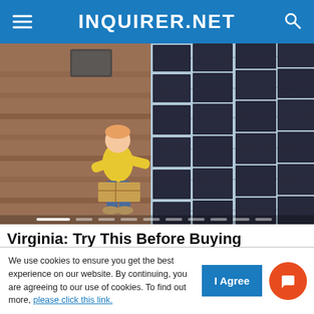INQUIRER.NET
[Figure (photo): A man in a yellow polo shirt sitting on a residential rooftop beside dark solar panels installed on the roof. The left side shows the brick-textured shingles and the right side is covered with large black solar panels.]
Virginia: Try This Before Buying Expensive Solar Panels (It’s Simple)
Solar Saver | Sponsored
We use cookies to ensure you get the best experience on our website. By continuing, you are agreeing to our use of cookies. To find out more, please click this link.